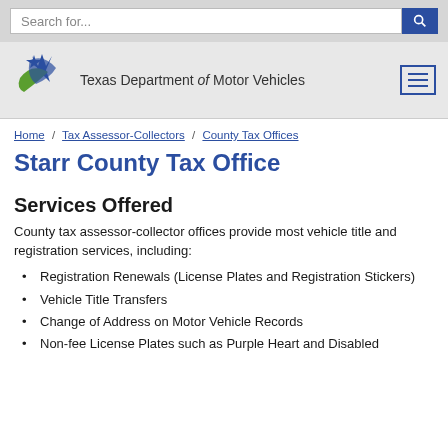Search for...
[Figure (logo): Texas Department of Motor Vehicles logo with star and swoosh graphic]
Texas Department of Motor Vehicles
Home / Tax Assessor-Collectors / County Tax Offices
Starr County Tax Office
Services Offered
County tax assessor-collector offices provide most vehicle title and registration services, including:
Registration Renewals (License Plates and Registration Stickers)
Vehicle Title Transfers
Change of Address on Motor Vehicle Records
Non-fee License Plates such as Purple Heart and Disabled